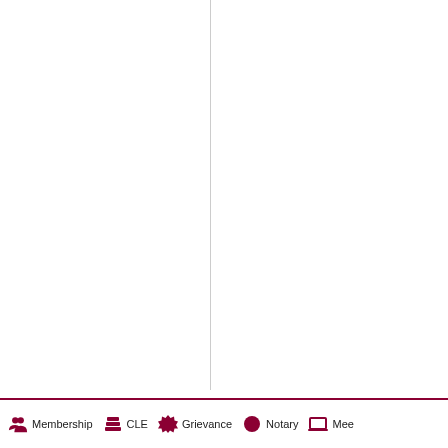[Figure (other): Mostly blank page with a vertical dividing line and a horizontal rule above a legend bar. The vertical line separates two columns. Bottom legend shows icons for: Membership, CLE, Grievance, Notary, Mee (truncated).]
Membership   CLE   Grievance   Notary   Mee